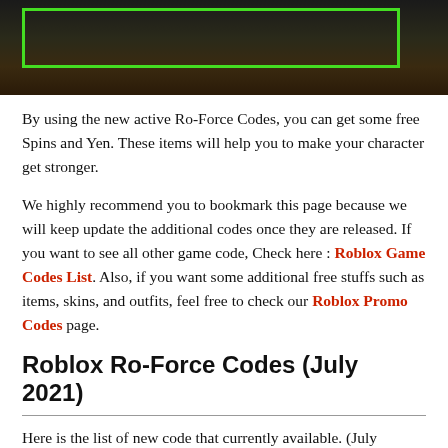[Figure (photo): Dark background screenshot from a game (Ro-Force) with a green rectangle outline overlay at the top of the image]
By using the new active Ro-Force Codes, you can get some free Spins and Yen. These items will help you to make your character get stronger.
We highly recommend you to bookmark this page because we will keep update the additional codes once they are released. If you want to see all other game code, Check here : Roblox Game Codes List. Also, if you want some additional free stuffs such as items, skins, and outfits, feel free to check our Roblox Promo Codes page.
Roblox Ro-Force Codes (July 2021)
Here is the list of new code that currently available. (July